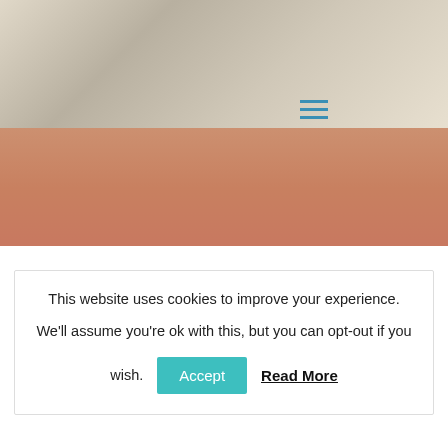[Figure (photo): Partial photo of a person's face (smiling man) with a menu icon (three horizontal blue lines) overlaid on the upper right area of the image.]
This website uses cookies to improve your experience.

We'll assume you're ok with this, but you can opt-out if you wish.
Accept  Read More
6. Walk up Squeaky beach
If you wondering why Squeaky beach has this name. It's because the sand squeaks as you walk across it. It's a strange feeling but definitely worth